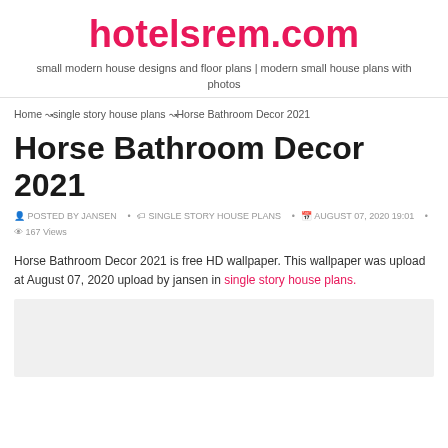hotelsrem.com
small modern house designs and floor plans | modern small house plans with photos
Home → single story house plans → Horse Bathroom Decor 2021
Horse Bathroom Decor 2021
POSTED BY JANSEN • SINGLE STORY HOUSE PLANS • AUGUST 07, 2020 19:01 • 167 Views
Horse Bathroom Decor 2021 is free HD wallpaper. This wallpaper was upload at August 07, 2020 upload by jansen in single story house plans.
[Figure (photo): Image placeholder area (light gray box)]